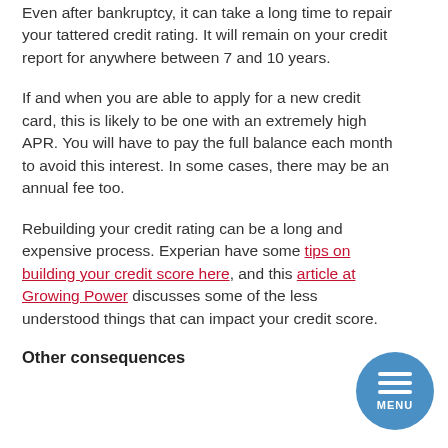Even after bankruptcy, it can take a long time to repair your tattered credit rating. It will remain on your credit report for anywhere between 7 and 10 years.
If and when you are able to apply for a new credit card, this is likely to be one with an extremely high APR. You will have to pay the full balance each month to avoid this interest. In some cases, there may be an annual fee too.
Rebuilding your credit rating can be a long and expensive process. Experian have some tips on building your credit score here, and this article at Growing Power discusses some of the less understood things that can impact your credit score.
Other consequences